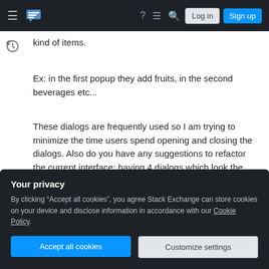Stack Exchange navigation bar with hamburger menu, logo, help, chat, search icons, Log in and Sign up buttons
kind of items.
Ex: in the first popup they add fruits, in the second beverages etc...
These dialogs are frequently used so I am trying to minimize the time users spend opening and closing the dialogs. Also do you have any suggestions to refactor the current interface; having 4 dialogs which look the same doesn't look like a good thing to me but I don't have much experience in UI design so I came here looking for any suggestions.
Your privacy
By clicking "Accept all cookies", you agree Stack Exchange can store cookies on your device and disclose information in accordance with our Cookie Policy.
Accept all cookies
Customize settings